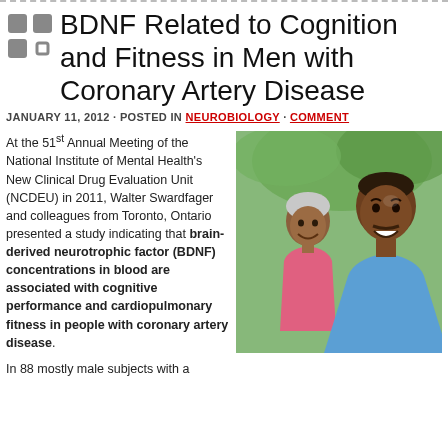BDNF Related to Cognition and Fitness in Men with Coronary Artery Disease
JANUARY 11, 2012 · POSTED IN NEUROBIOLOGY · COMMENT
At the 51st Annual Meeting of the National Institute of Mental Health's New Clinical Drug Evaluation Unit (NCDEU) in 2011, Walter Swardfager and colleagues from Toronto, Ontario presented a study indicating that brain-derived neurotrophic factor (BDNF) concentrations in blood are associated with cognitive performance and cardiopulmonary fitness in people with coronary artery disease.
In 88 mostly male subjects with a
[Figure (photo): Two elderly African American adults smiling outdoors, one wearing a blue shirt and one wearing a pink jacket, with green foliage in the background.]